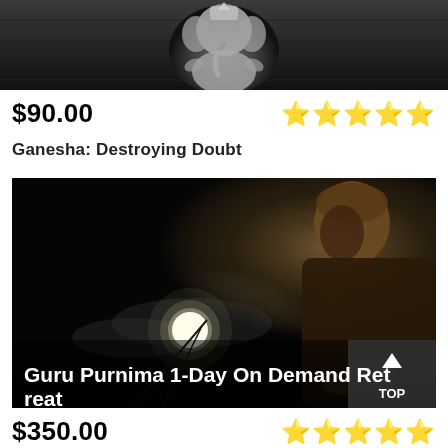[Figure (photo): Ganesha statue on dark stone background, partially visible at top of page]
$90.00
★★★★★
Ganesha: Destroying Doubt
[Figure (photo): Dark nighttime photo of a person silhouetted against a glowing moon through clouds, with text overlay 'Guru Purnima 1-Day On Demand Retreat' and a TOP navigation button]
$350.00
★★★★★